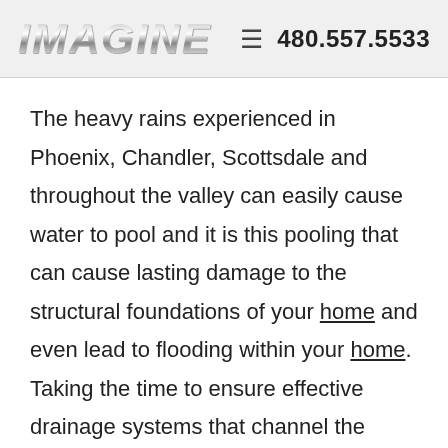IMAGINE  480.557.5533
The heavy rains experienced in Phoenix, Chandler, Scottsdale and throughout the valley can easily cause water to pool and it is this pooling that can cause lasting damage to the structural foundations of your home and even lead to flooding within your home. Taking the time to ensure effective drainage systems that channel the water away from your home is essential and something that our team are very experienced in. The cost of fixing damage to foundations can be astronomical. Hiring a company with the right expertise up front is the best